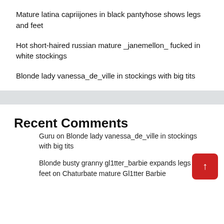Mature latina capriijones in black pantyhose shows legs and feet
Hot short-haired russian mature _janemellon_ fucked in white stockings
Blonde lady vanessa_de_ville in stockings with big tits
Recent Comments
Guru on Blonde lady vanessa_de_ville in stockings with big tits
Blonde busty granny gl1tter_barbie expands legs and feet on Chaturbate mature Gl1tter Barbie